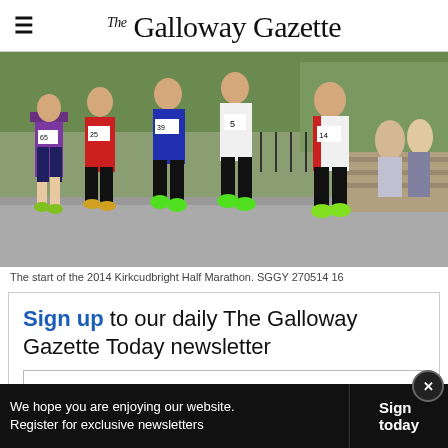The Galloway Gazette
[Figure (photo): Runners at the start of the 2014 Kirkcudbright Half Marathon, showing multiple athletes with race bibs including numbers 65, 25, 39, 5, 14, running on a road with spectators and trees in the background.]
The start of the 2014 Kirkcudbright Half Marathon. SGGY 270514 16
Sign up to our daily The Galloway Gazette Today newsletter
We hope you are enjoying our website. Register for exclusive newsletters  Sign today